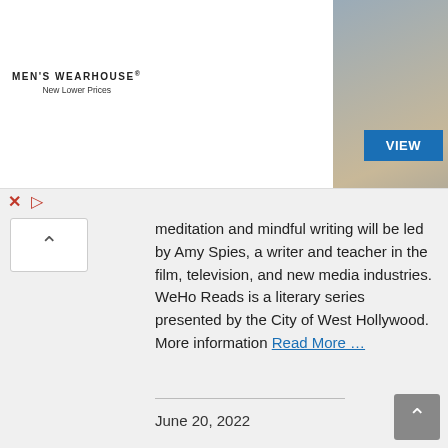[Figure (photo): Men's Wearhouse advertisement banner showing a couple in formalwear and a man in a suit, with a VIEW button]
meditation and mindful writing will be led by Amy Spies, a writer and teacher in the film, television, and new media industries. WeHo Reads is a literary series presented by the City of West Hollywood. More information Read More …
June 20, 2022
WeHo Reads: Pride & Joy in the Matrix
May 20, 2022